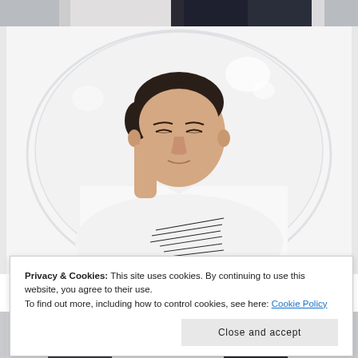[Figure (photo): Partial top photo - cropped bottom portion of a person in dark clothing on a white/light background]
[Figure (photo): Young man in a white polo shirt with graphic design, eyes nearly closed, resting his hand on his face, posed inside or in front of a large transparent bubble/balloon, on white background]
Privacy & Cookies: This site uses cookies. By continuing to use this website, you agree to their use.
To find out more, including how to control cookies, see here: Cookie Policy
[Figure (photo): Partial bottom photo - cropped top portion of another image showing people]
Close and accept